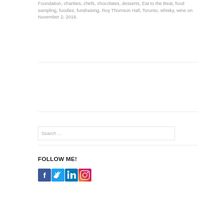Foundation, charities, chefs, chocolates, desserts, Eat to the Beat, food sampling, foodies, fundraising, Roy Thomson Hall, Toronto, whisky, wine on November 2, 2016.
FOLLOW ME!
[Figure (illustration): Four social media icons in a row: Facebook (blue), Twitter (light blue), LinkedIn (dark blue), Instagram (gradient/camera icon)]